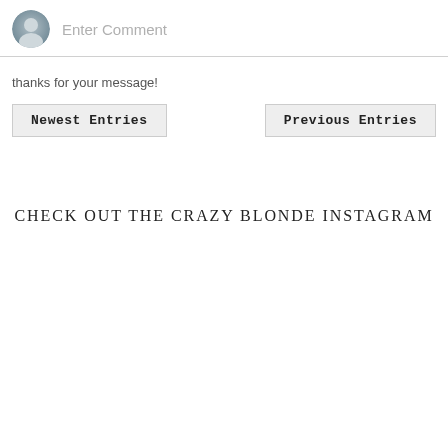[Figure (illustration): Comment input bar with default avatar icon and placeholder text 'Enter Comment']
thanks for your message!
Newest Entries
Previous Entries
CHECK OUT THE CRAZY BLONDE INSTAGRAM